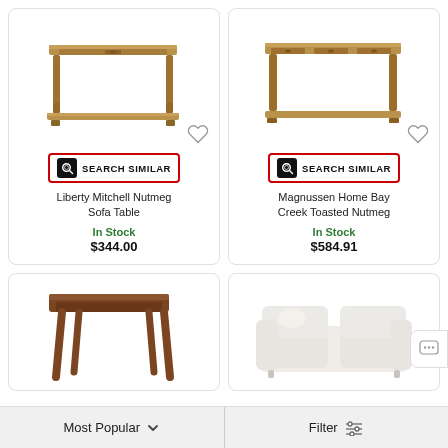[Figure (photo): Liberty Mitchell Nutmeg Sofa Table product photo - wooden console table with lower shelf]
Liberty Mitchell Nutmeg Sofa Table
In Stock
$344.00
[Figure (photo): Magnussen Home Bay Creek Toasted Nutmeg product photo - wooden console table with drawers and lower shelf]
Magnussen Home Bay Creek Toasted Nutmeg
In Stock
$584.91
[Figure (photo): Wooden mid-century style side table with tapered legs]
[Figure (photo): White slipcovered sofa]
Most Popular
Filter